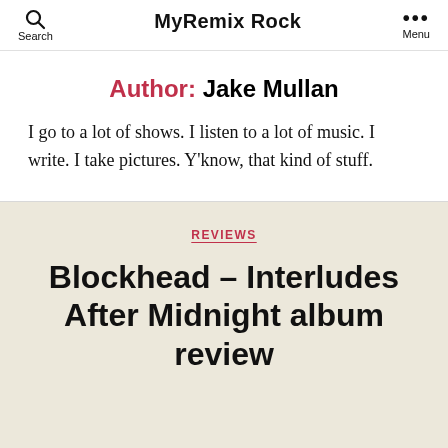MyRemix Rock
Author: Jake Mullan
I go to a lot of shows. I listen to a lot of music. I write. I take pictures. Y'know, that kind of stuff.
REVIEWS
Blockhead – Interludes After Midnight album review